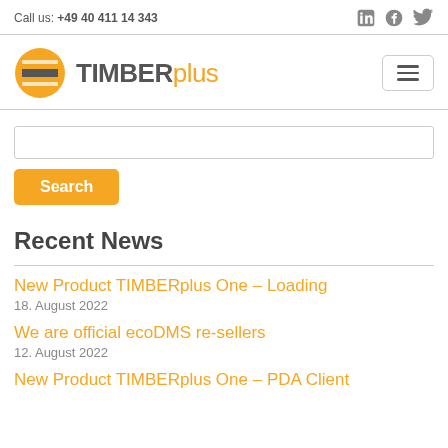Call us: +49 40 411 14 343
[Figure (logo): TIMBERplus logo with orange circle and 'TIMBER' in gray bold and 'plus' in orange]
Search
Recent News
New Product TIMBERplus One – Loading
18. August 2022
We are official ecoDMS re-sellers
12. August 2022
New Product TIMBERplus One – PDA Client